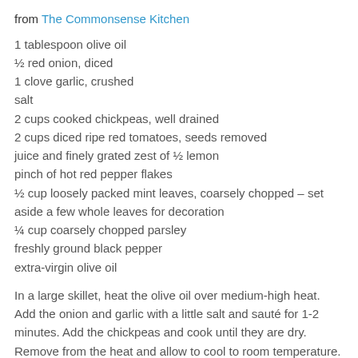from The Commonsense Kitchen
1 tablespoon olive oil
½ red onion, diced
1 clove garlic, crushed
salt
2 cups cooked chickpeas, well drained
2 cups diced ripe red tomatoes, seeds removed
juice and finely grated zest of ½ lemon
pinch of hot red pepper flakes
½ cup loosely packed mint leaves, coarsely chopped – set aside a few whole leaves for decoration
¼ cup coarsely chopped parsley
freshly ground black pepper
extra-virgin olive oil
In a large skillet, heat the olive oil over medium-high heat. Add the onion and garlic with a little salt and sauté for 1-2 minutes. Add the chickpeas and cook until they are dry. Remove from the heat and allow to cool to room temperature.
Before serving, gently toss in the tomatoes, lemon zest and